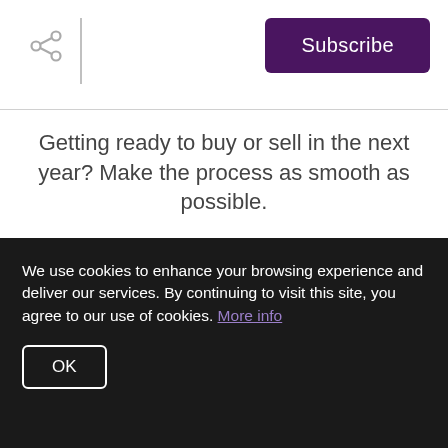Share | Subscribe
Getting ready to buy or sell in the next year? Make the process as smooth as possible.
Our Tips >
most recent information from Kent Redding Group | Berkshire
We use cookies to enhance your browsing experience and deliver our services. By continuing to visit this site, you agree to our use of cookies. More info
OK